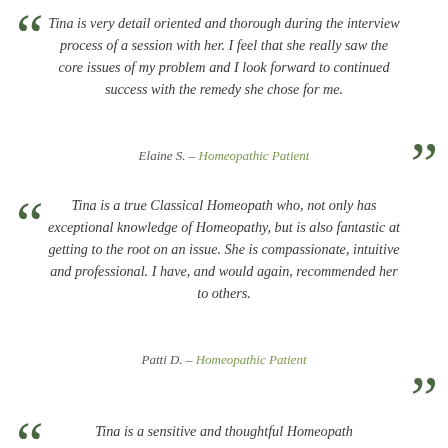Tina is very detail oriented and thorough during the interview process of a session with her. I feel that she really saw the core issues of my problem and I look forward to continued success with the remedy she chose for me.
Elaine S. – Homeopathic Patient
Tina is a true Classical Homeopath who, not only has exceptional knowledge of Homeopathy, but is also fantastic at getting to the root on an issue. She is compassionate, intuitive and professional. I have, and would again, recommended her to others.
Patti D. – Homeopathic Patient
Tina is a sensitive and thoughtful Homeopath